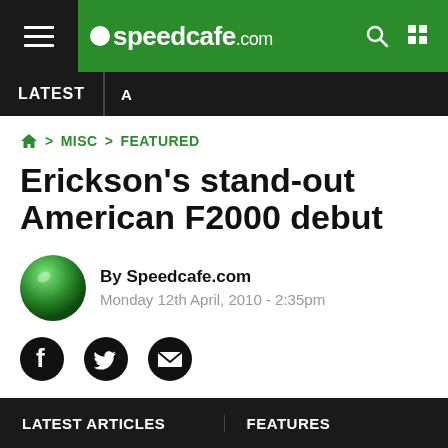speedcafe.com
LATEST
🏠 > MISC > FEATURED
Erickson's stand-out American F2000 debut
By Speedcafe.com
Monday 12th April, 2010 - 2:35pm
[Figure (other): Social share icons: Facebook, Twitter, Email]
LATEST ARTICLES    FEATURES